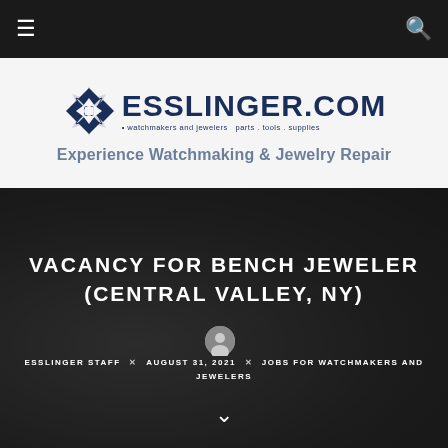Navigation bar with hamburger menu and search icon
[Figure (logo): Esslinger.com logo with geometric diamond/star shape and text 'ESSLINGER.COM - watchmakers and jewelers parts . tools . supplies']
Experience Watchmaking & Jewelry Repair
[Figure (photo): Dark background photo of watchmaking/jewelry repair work, dimly lit]
VACANCY FOR BENCH JEWELER (CENTRAL VALLEY, NY)
ESSLINGER STAFF × AUGUST 31, 2021 × JOBS FOR WATCHMAKERS AND JEWELERS